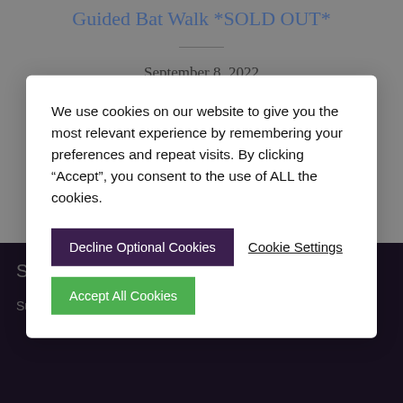Guided Bat Walk *SOLD OUT*
September 8, 2022
We use cookies on our website to give you the most relevant experience by remembering your preferences and repeat visits. By clicking “Accept”, you consent to the use of ALL the cookies.
Decline Optional Cookies
Cookie Settings
Accept All Cookies
Subscribe
Subscribe today to receive regular updates directly to your inbox